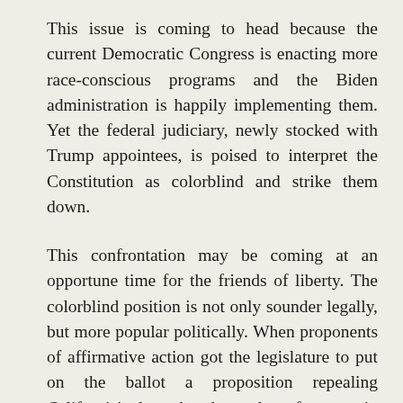This issue is coming to head because the current Democratic Congress is enacting more race-conscious programs and the Biden administration is happily implementing them. Yet the federal judiciary, newly stocked with Trump appointees, is poised to interpret the Constitution as colorblind and strike them down.
This confrontation may be coming at an opportune time for the friends of liberty. The colorblind position is not only sounder legally, but more popular politically. When proponents of affirmative action got the legislature to put on the ballot a proposition repealing California's law that banned preferences in government programs and schools, the initiative lost by over 14 percentage points. And the defenders of